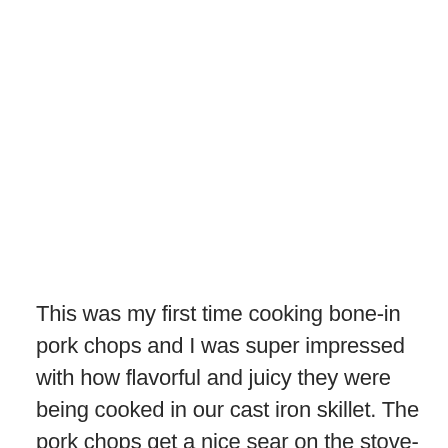This was my first time cooking bone-in pork chops and I was super impressed with how flavorful and juicy they were being cooked in our cast iron skillet. The pork chops get a nice sear on the stove-top before adding in an easy sauce of balsamic vinegar, honey and